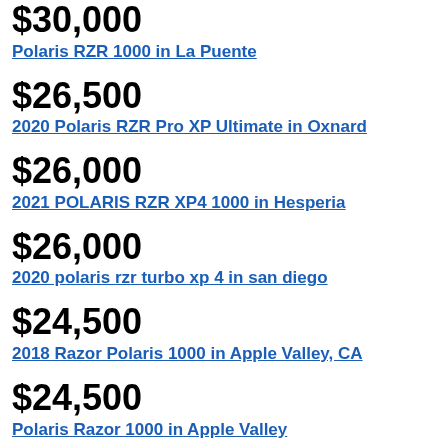$30,000 — Polaris RZR 1000 in La Puente
$26,500 — 2020 Polaris RZR Pro XP Ultimate in Oxnard
$26,000 — 2021 POLARIS RZR XP4 1000 in Hesperia
$26,000 — 2020 polaris rzr turbo xp 4 in san diego
$24,500 — 2018 Razor Polaris 1000 in Apple Valley, CA
$24,500 — Polaris Razor 1000 in Apple Valley
$24,500 — Polaris Razor 1000 in Apple Valley
$23,500 (partial)